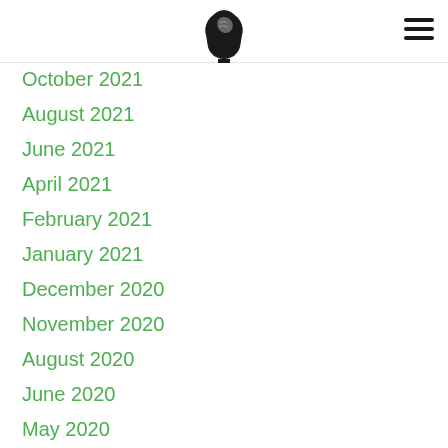[Brain logo icon] [Hamburger menu]
October 2021
August 2021
June 2021
April 2021
February 2021
January 2021
December 2020
November 2020
August 2020
June 2020
May 2020
April 2020
March 2020
February 2020
January 2020
December 2019
November 2019